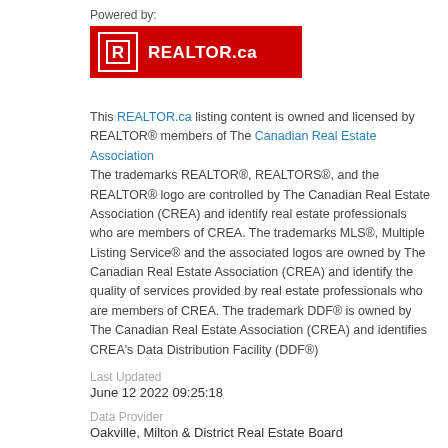Powered by:
[Figure (logo): REALTOR.ca logo — red background with white R icon and REALTOR.ca text in white]
This REALTOR.ca listing content is owned and licensed by REALTOR® members of The Canadian Real Estate Association
The trademarks REALTOR®, REALTORS®, and the REALTOR® logo are controlled by The Canadian Real Estate Association (CREA) and identify real estate professionals who are members of CREA. The trademarks MLS®, Multiple Listing Service® and the associated logos are owned by The Canadian Real Estate Association (CREA) and identify the quality of services provided by real estate professionals who are members of CREA. The trademark DDF® is owned by The Canadian Real Estate Association (CREA) and identifies CREA's Data Distribution Facility (DDF®)
Last Updated
June 12 2022 09:25:18
Data Provider
Oakville, Milton & District Real Estate Board
Listing Office
Royal LePage Realty Plus Oakville, Brokerage
RealtyPress WordPress CREA DDF® Plugin